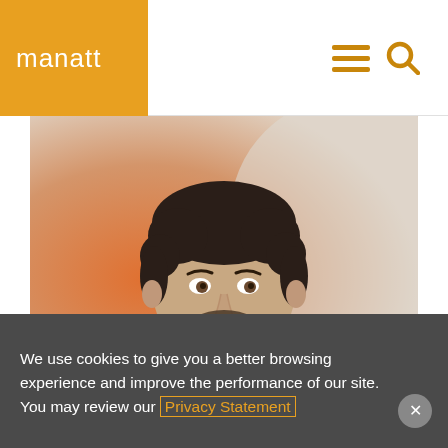manatt
[Figure (photo): Professional headshot of a man with dark curly hair and beard, wearing a gray suit and tie, against a blurred warm background]
We use cookies to give you a better browsing experience and improve the performance of our site. You may review our Privacy Statement